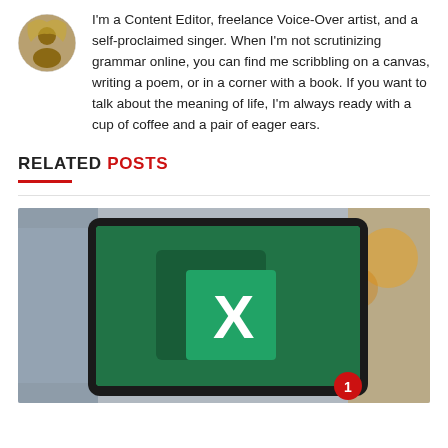[Figure (photo): Circular avatar/profile photo of the author]
I'm a Content Editor, freelance Voice-Over artist, and a self-proclaimed singer. When I'm not scrutinizing grammar online, you can find me scribbling on a canvas, writing a poem, or in a corner with a book. If you want to talk about the meaning of life, I'm always ready with a cup of coffee and a pair of eager ears.
RELATED POSTS
[Figure (photo): Microsoft Excel logo on a green screen displayed on a laptop/tablet, blurred cafe background]